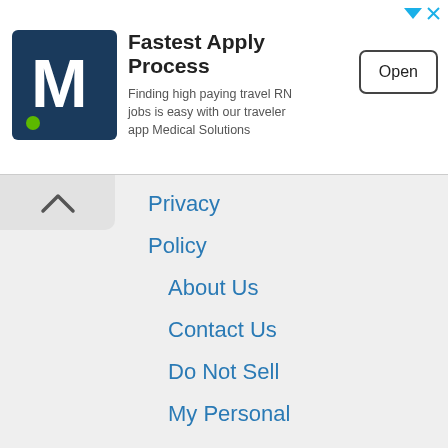[Figure (infographic): Advertisement banner for Medical Solutions travel RN jobs app with logo, title 'Fastest Apply Process', subtitle text, and Open button]
Privacy
Policy
About Us
Contact Us
Do Not Sell
My Personal
We use cookies on our website to give you the most relevant experience by remembering your preferences and repeat visits. By clicking "Accept All", you consent to the use of ALL the cookies. However, you may visit "Cookie Settings" to provide a controlled consent.